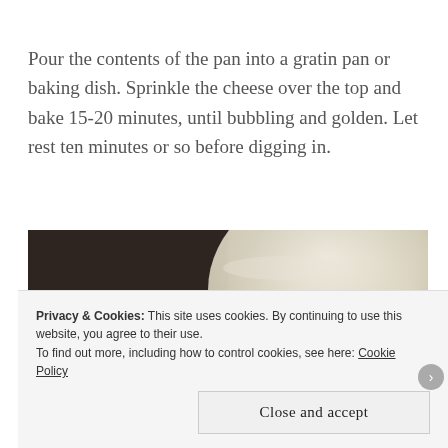Pour the contents of the pan into a gratin pan or baking dish. Sprinkle the cheese over the top and bake 15-20 minutes, until bubbling and golden. Let rest ten minutes or so before digging in.
[Figure (photo): Close-up food photo in sepia/dark tones showing a round white dish or bowl partially in frame with dark blurred background, likely a gratin or baked dish]
Privacy & Cookies: This site uses cookies. By continuing to use this website, you agree to their use.
To find out more, including how to control cookies, see here: Cookie Policy
Close and accept